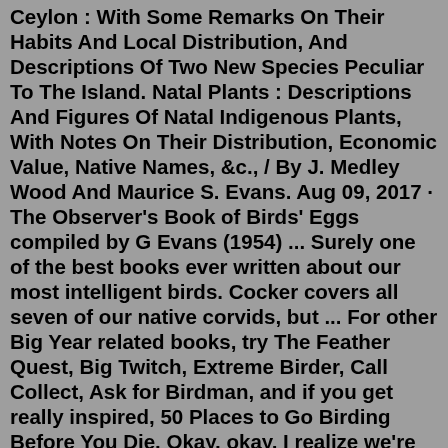Ceylon : With Some Remarks On Their Habits And Local Distribution, And Descriptions Of Two New Species Peculiar To The Island. Natal Plants : Descriptions And Figures Of Natal Indigenous Plants, With Notes On Their Distribution, Economic Value, Native Names, &c., / By J. Medley Wood And Maurice S. Evans. Aug 09, 2017 · The Observer's Book of Birds' Eggs compiled by G Evans (1954) ... Surely one of the best books ever written about our most intelligent birds. Cocker covers all seven of our native corvids, but ... For other Big Year related books, try The Feather Quest, Big Twitch, Extreme Birder, Call Collect, Ask for Birdman, and if you get really inspired, 50 Places to Go Birding Before You Die. Okay, okay, I realize we're way past 10 books at this point—but don't miss our Book Review section on All About Birds for more great reading. And please ...About All About Birds Sticker Activity Book. Young readers will learn all about the cardinal, owl, mockingbird, eagle, finch, duck, and many more common North American birds as they complete the